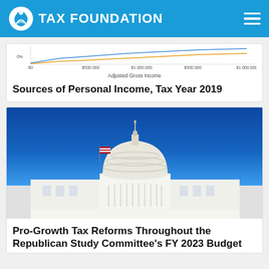TAX FOUNDATION
[Figure (continuous-plot): Partial view of a chart showing Adjusted Gross Income on the x-axis with axis labels: $0, $500,000, $1,000,000, $500,000, $1,000,000]
Sources of Personal Income, Tax Year 2019
[Figure (photo): Photograph of the United States Capitol building dome against a clear blue sky, with an American flag visible.]
Pro-Growth Tax Reforms Throughout the Republican Study Committee's FY 2023 Budget